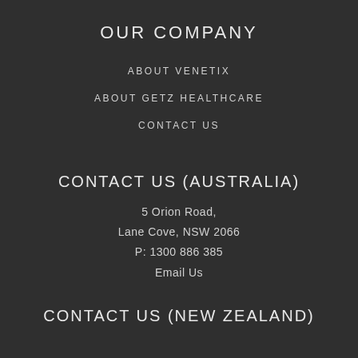OUR COMPANY
ABOUT VENETIX
ABOUT GETZ HEALTHCARE
CONTACT US
CONTACT US (AUSTRALIA)
5 Orion Road,
Lane Cove, NSW 2066
P: 1300 886 385
Email Us
CONTACT US (NEW ZEALAND)